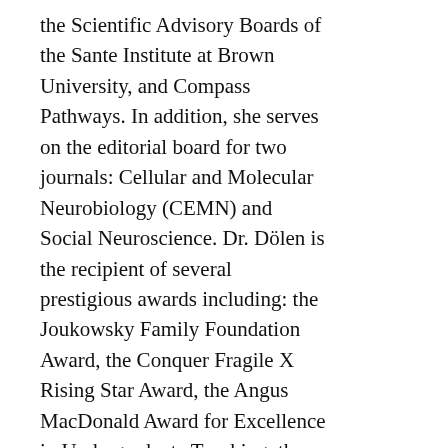the Scientific Advisory Boards of the Sante Institute at Brown University, and Compass Pathways. In addition, she serves on the editorial board for two journals: Cellular and Molecular Neurobiology (CEMN) and Social Neuroscience. Dr. Dölen is the recipient of several prestigious awards including: the Joukowsky Family Foundation Award, the Conquer Fragile X Rising Star Award, the Angus MacDonald Award for Excellence in Undergraduate Teaching, the Society for Social
[Figure (other): Search bar overlay with text input field showing 'Search...' placeholder, a black search icon button, and a 'CLOSE' button on a light grey background]
[Figure (logo): MIND Foundation logo with circular icon in blue, red and white colors, alongside text 'MIND FOUNDATION']
[Figure (other): Navigation icons: search (magnifying glass), user/person, and hamburger menu icon]